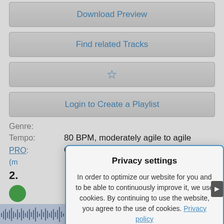Download Preview
Find related Tracks
☆
Login to Create a Playlist
Genre:
Tempo: 80 BPM, moderately agile to agile
PRO: Completely Royalty Free Music
2.
Privacy settings

In order to optimize our website for you and to be able to continuously improve it, we use cookies. By continuing to use the website, you agree to the use of cookies. Privacy policy

Settings | Save | Accept all